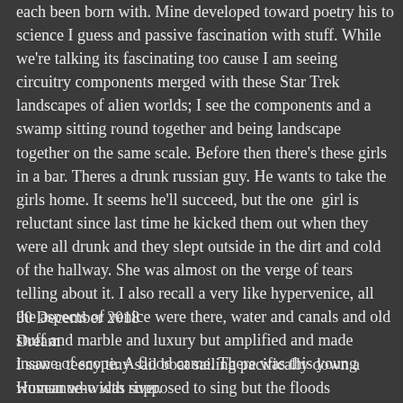each been born with. Mine developed toward poetry his to science I guess and passive fascination with stuff. While we're talking its fascinating too cause I am seeing circuitry components merged with these Star Trek landscapes of alien worlds; I see the components and a swamp sitting round together and being landscape together on the same scale. Before then there's these girls in a bar. Theres a drunk russian guy. He wants to take the girls home. It seems he'll succeed, but the one  girl is reluctant since last time he kicked them out when they were all drunk and they slept outside in the dirt and cold of the hallway. She was almost on the verge of tears telling about it. I also recall a very like hypervenice, all the aspects of venice were there, water and canals and old stuff and marble and luxury but amplified and made insane of scope. A flood came. There was this young woman who was supposed to sing but the floods interrupted that. Another part in a bar with lazy bum guys complete annihilation of meaningful connections. Total distortion of decipherable motives.
30 December 2018
Dream
I saw a teeny tiny sail boat sailing pacifically down a Huveanue-width river.